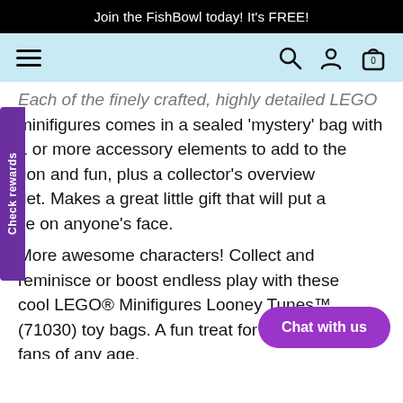Join the FishBowl today! It's FREE!
[Figure (screenshot): Navigation bar with hamburger menu icon on left and search, user account, and shopping bag icons on right, on a light blue background]
Each of the finely crafted, highly detailed LEGO minifigures comes in a sealed 'mystery' bag with 1 or more accessory elements to add to the collection and fun, plus a collector's overview leaflet. Makes a great little gift that will put a smile on anyone's face.
More awesome characters! Collect and reminisce or boost endless play with these cool LEGO® Minifigures Looney Tunes™ (71030) toy bags. A fun treat for kids and fans of any age.
What's in the bag? 1 of 12 unique characters to discover, plus accessories. A perfect addition to any LEGO® collection to inspire new play
Check rewards
Chat with us